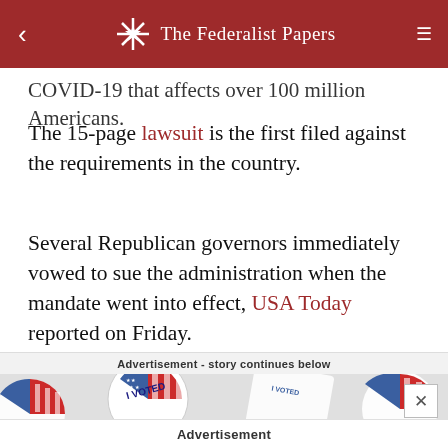The Federalist Papers
COVID-19 that affects over 100 million Americans.
The 15-page lawsuit is the first filed against the requirements in the country.
Several Republican governors immediately vowed to sue the administration when the mandate went into effect, USA Today reported on Friday.
Advertisement - story continues below
[Figure (photo): Several 'I VOTED' sticker buttons with American flag design scattered on a white background]
Advertisement